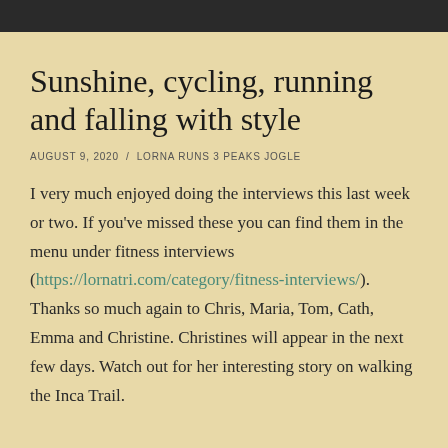Sunshine, cycling, running and falling with style
AUGUST 9, 2020  /  LORNA RUNS 3 PEAKS JOGLE
I very much enjoyed doing the interviews this last week or two. If you've missed these you can find them in the menu under fitness interviews (https://lornatri.com/category/fitness-interviews/). Thanks so much again to Chris, Maria, Tom, Cath, Emma and Christine. Christines will appear in the next few days. Watch out for her interesting story on walking the Inca Trail.